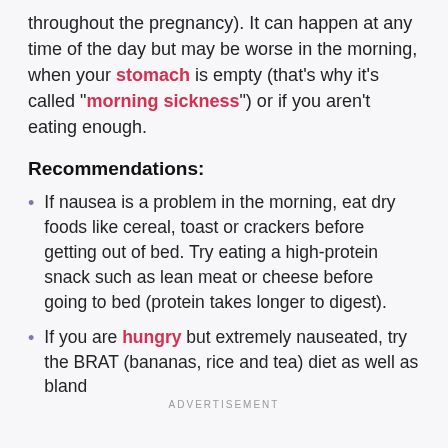throughout the pregnancy). It can happen at any time of the day but may be worse in the morning, when your stomach is empty (that's why it's called "morning sickness") or if you aren't eating enough.
Recommendations:
If nausea is a problem in the morning, eat dry foods like cereal, toast or crackers before getting out of bed. Try eating a high-protein snack such as lean meat or cheese before going to bed (protein takes longer to digest).
If you are hungry but extremely nauseated, try the BRAT (bananas, rice and tea) diet as well as bland
ADVERTISEMENT